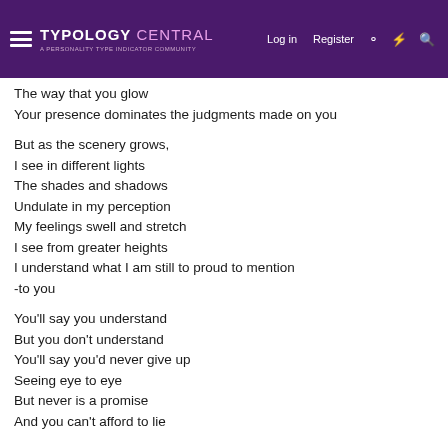Typology Central — A Personality Type Indicator Community | Log in | Register
The way that you glow
Your presence dominates the judgments made on you

But as the scenery grows,
I see in different lights
The shades and shadows
Undulate in my perception
My feelings swell and stretch
I see from greater heights
I understand what I am still to proud to mention
-to you

You'll say you understand
But you don't understand
You'll say you'd never give up
Seeing eye to eye
But never is a promise
And you can't afford to lie